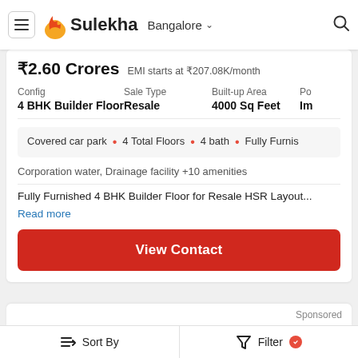Sulekha — Bangalore
₹2.60 Crores   EMI starts at ₹207.08K/month
| Config | Sale Type | Built-up Area | Po |
| --- | --- | --- | --- |
| 4 BHK Builder Floor | Resale | 4000 Sq Feet | Im |
Covered car park • 4 Total Floors • 4 bath • Fully Furnis
Corporation water, Drainage facility +10 amenities
Fully Furnished 4 BHK Builder Floor for Resale HSR Layout...
Read more
View Contact
Sponsored
Sort By   Filter